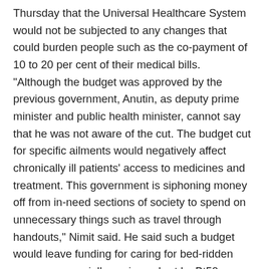Thursday that the Universal Healthcare System would not be subjected to any changes that could burden people such as the co-payment of 10 to 20 per cent of their medical bills. "Although the budget was approved by the previous government, Anutin, as deputy prime minister and public health minister, cannot say that he was not aware of the cut. The budget cut for specific ailments would negatively affect chronically ill patients' access to medicines and treatment. This government is siphoning money off from in-need sections of society to spend on unnecessary things such as travel through handouts," Nimit said. He said such a budget would leave funding for caring for bed-ridden persons, especially seniors, short by Bt50 million.